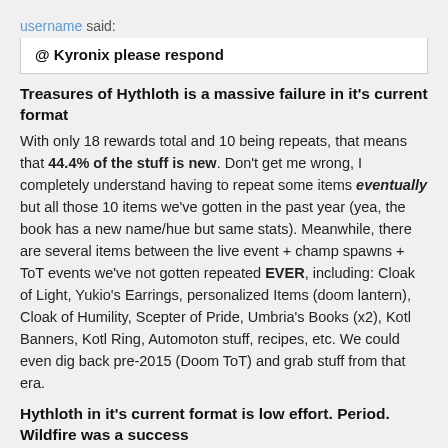username said:
@ Kyronix please respond
Treasures of Hythloth is a massive failure in it's current format
With only 18 rewards total and 10 being repeats, that means that 44.4% of the stuff is new. Don't get me wrong, I completely understand having to repeat some items eventually but all those 10 items we've gotten in the past year (yea, the book has a new name/hue but same stats). Meanwhile, there are several items between the live event + champ spawns + ToT events we've not gotten repeated EVER, including: Cloak of Light, Yukio's Earrings, personalized Items (doom lantern), Cloak of Humility, Scepter of Pride, Umbria's Books (x2), Kotl Banners, Kotl Ring, Automoton stuff, recipes, etc. We could even dig back pre-2015 (Doom ToT) and grab stuff from that era.
Hythloth in it's current format is low effort. Period. Wildfire was a success
There are only 13 rewards for Hythloth because 5 are